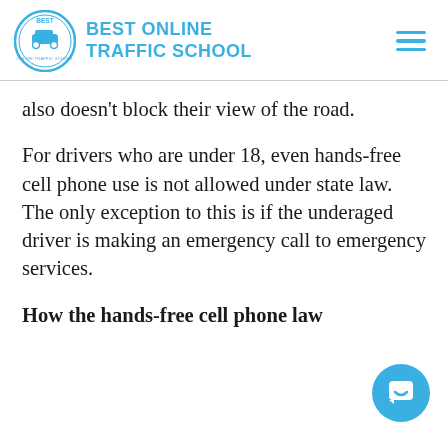BEST ONLINE TRAFFIC SCHOOL
also doesn't block their view of the road.
For drivers who are under 18, even hands-free cell phone use is not allowed under state law. The only exception to this is if the underaged driver is making an emergency call to emergency services.
How the hands-free cell phone law